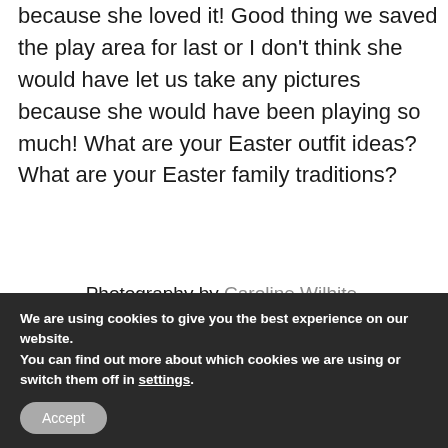because she loved it! Good thing we saved the play area for last or I don't think she would have let us take any pictures because she would have been playing so much! What are your Easter outfit ideas? What are your Easter family traditions?
Photography by Caroline Wilhite.
[Figure (photo): Woman with long blonde hair sitting on a wooden swing with chains, outdoors with green grass and trees in the background]
We are using cookies to give you the best experience on our website.
You can find out more about which cookies we are using or switch them off in settings.
Accept